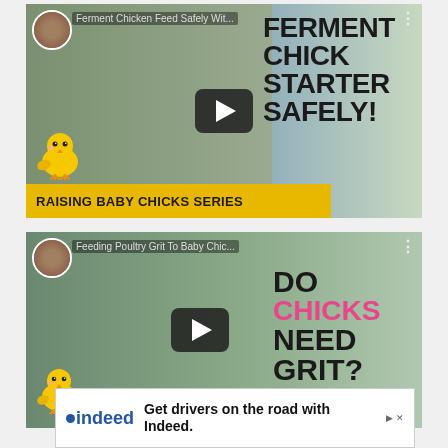[Figure (screenshot): YouTube video thumbnail showing a woman with long dark hair, a yellow cartoon chick, and bold text reading FERMENT CHICK STARTER SAFELY! with a yellow banner at the bottom reading RAISING BABY CHICKS SERIES. Channel avatar and title Ferment Chicken Feed Safely Wit... visible at top.]
[Figure (screenshot): YouTube video thumbnail showing a woman with long dark hair outdoors, a yellow cartoon chick, and bold text reading DO CHICKS (in pink) NEED GRIT? Channel avatar and title Feeding Poultry Grit To Baby Chic... visible at top.]
[Figure (screenshot): Advertisement banner from Indeed with text: Get drivers on the road with Indeed. Partially visible at the bottom with Indeed logo.]